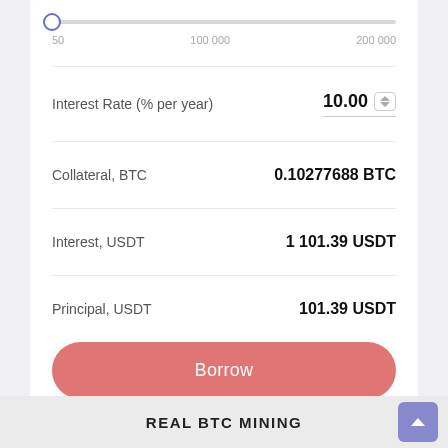[Figure (infographic): Slider control with thumb at minimum position (50), track spanning from 50 to 200,000, with labels 50, 100 000, 200 000]
Interest Rate (% per year)   10.00
Collateral, BTC   0.10277688 BTC
Interest, USDT   1 101.39 USDT
Principal, USDT   101.39 USDT
Borrow
We're not a bank. Instead, we connect borrowers with lenders through our online marketplace.
REAL BTC MINING